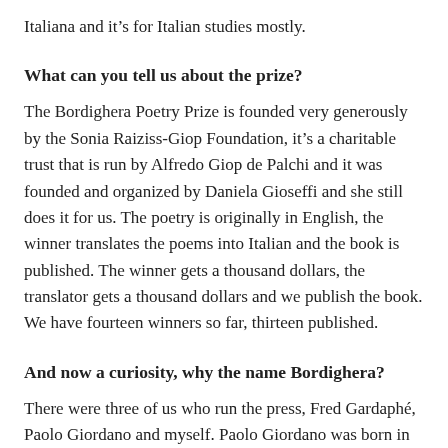Italiana and it's for Italian studies mostly.
What can you tell us about the prize?
The Bordighera Poetry Prize is founded very generously by the Sonia Raiziss-Giop Foundation, it's a charitable trust that is run by Alfredo Giop de Palchi and it was founded and organized by Daniela Gioseffi and she still does it for us. The poetry is originally in English, the winner translates the poems into Italian and the book is published. The winner gets a thousand dollars, the translator gets a thousand dollars and we publish the book. We have fourteen winners so far, thirteen published.
And now a curiosity, why the name Bordighera?
There were three of us who run the press, Fred Gardaphé, Paolo Giordano and myself. Paolo Giordano was born in Bordighera and he came here when he was 10 years old. When he was in High